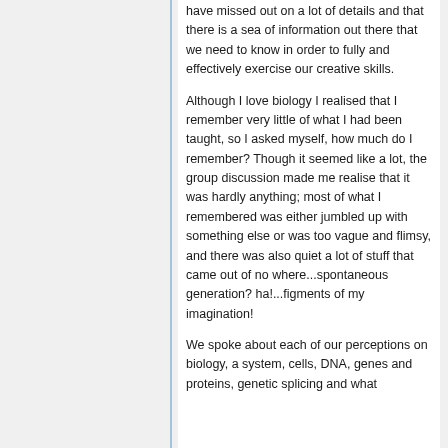have missed out on a lot of details and that there is a sea of information out there that we need to know in order to fully and effectively exercise our creative skills.
Although I love biology I realised that I remember very little of what I had been taught, so I asked myself, how much do I remember? Though it seemed like a lot, the group discussion made me realise that it was hardly anything; most of what I remembered was either jumbled up with something else or was too vague and flimsy, and there was also quiet a lot of stuff that came out of no where...spontaneous generation? ha!...figments of my imagination!
We spoke about each of our perceptions on biology, a system, cells, DNA, genes and proteins, genetic splicing and what